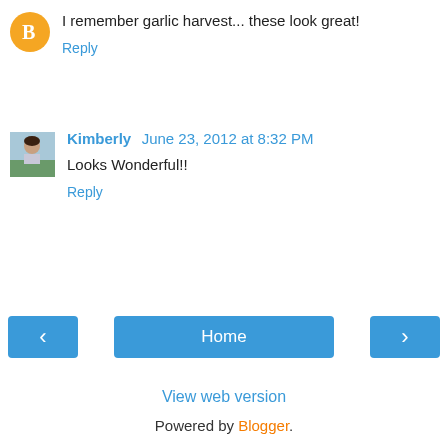[Figure (logo): Blogger orange circle logo/avatar icon]
I remember garlic harvest... these look great!
Reply
[Figure (photo): Profile photo of Kimberly, a woman with dark hair outdoors]
Kimberly June 23, 2012 at 8:32 PM
Looks Wonderful!!
Reply
‹
Home
›
View web version
Powered by Blogger.